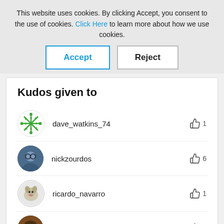This website uses cookies. By clicking Accept, you consent to the use of cookies. Click Here to learn more about how we use cookies.
Accept
Reject
Kudos given to
dave_watkins_74  👍 1
nickzourdos  👍 6
ricardo_navarro  👍 1
michael_brado  👍 2